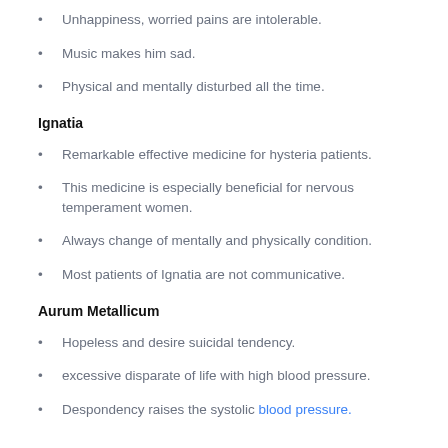Unhappiness, worried pains are intolerable.
Music makes him sad.
Physical and mentally disturbed all the time.
Ignatia
Remarkable effective medicine for hysteria patients.
This medicine is especially beneficial for nervous temperament women.
Always change of mentally and physically condition.
Most patients of Ignatia are not communicative.
Aurum Metallicum
Hopeless and desire suicidal tendency.
excessive disparate of life with high blood pressure.
Despondency raises the systolic blood pressure.